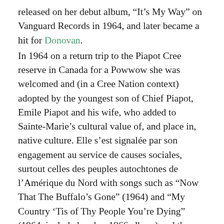released on her debut album, “It’s My Way” on Vanguard Records in 1964, and later became a hit for Donovan. In 1964 on a return trip to the Piapot Cree reserve in Canada for a Powwow she was welcomed and (in a Cree Nation context) adopted by the youngest son of Chief Piapot, Emile Piapot and his wife, who added to Sainte-Marie’s cultural value of, and place in, native culture. Elle s’est signalée par son engagement au service de causes sociales, surtout celles des peuples autochtones de l’Amérique du Nord with songs such as “Now That The Buffalo’s Gone” (1964) and “My Country ‘Tis of Thy People You’re Dying” (1964, included on her 1966 album) and the theme song of the popular movie “Soldier Blue”. As a result of blacklisting led by (among others)